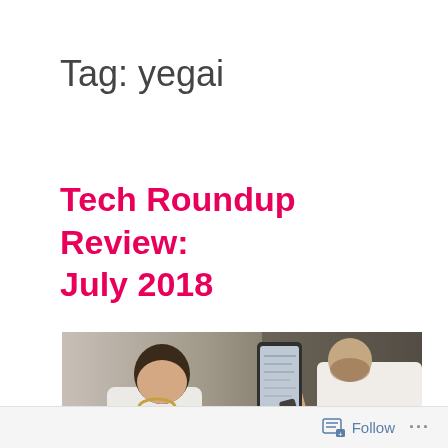Tag: yegai
Tech Roundup Review: July 2018
[Figure (photo): Two people at a table looking at mobile devices; a woman in a white shirt with a gold necklace looks at a tablet, while a man in a white shirt holds up a smartphone showing content.]
Follow ...